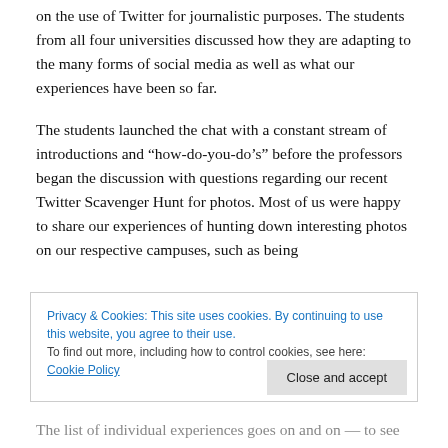on the use of Twitter for journalistic purposes. The students from all four universities discussed how they are adapting to the many forms of social media as well as what our experiences have been so far.
The students launched the chat with a constant stream of introductions and “how-do-you-do’s” before the professors began the discussion with questions regarding our recent Twitter Scavenger Hunt for photos. Most of us were happy to share our experiences of hunting down interesting photos on our respective campuses, such as being
Privacy & Cookies: This site uses cookies. By continuing to use this website, you agree to their use. To find out more, including how to control cookies, see here: Cookie Policy
The list of individual experiences goes on and on — to see